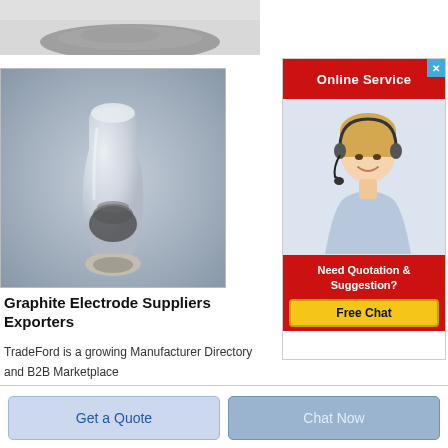[Figure (photo): Top partial image of graphite powder on a light background, cropped at top]
[Figure (photo): Photo of graphite electrode/powder in a glass flask or vial, against a grey background]
Graphite Electrode Suppliers Exporters
TradeFord is a growing Manufacturer Directory and B2B Marketplace
[Figure (infographic): Online Service advertisement banner with red header saying 'Online Service', photo of smiling blonde woman with headset, red footer with 'Need Quotation & Suggestion?' and yellow 'Free Chat' button]
Get a Quote
Chat Now